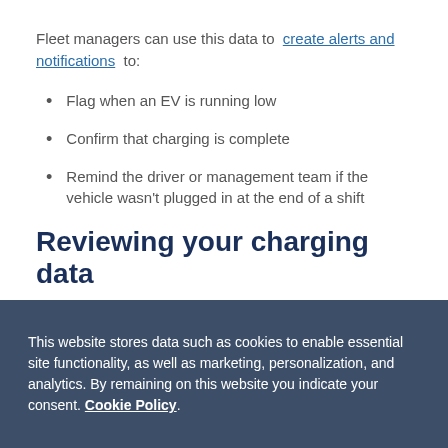Fleet managers can use this data to create alerts and notifications to:
Flag when an EV is running low
Confirm that charging is complete
Remind the driver or management team if the vehicle wasn't plugged in at the end of a shift
Reviewing your charging data
The main difference you will experience with EVs in your fleet is how they “fuel up.” To better understand
This website stores data such as cookies to enable essential site functionality, as well as marketing, personalization, and analytics. By remaining on this website you indicate your consent. Cookie Policy.